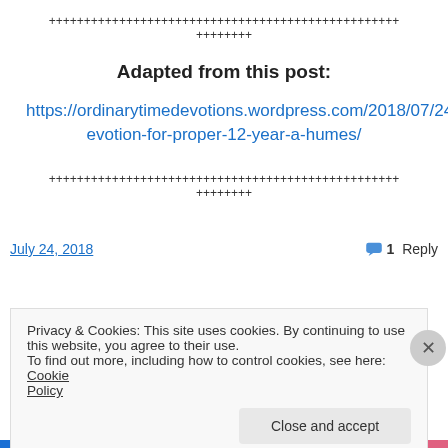++++++++++++++++++++++++++++++++++++++++++++++++++
++++++++
Adapted from this post:
https://ordinarytimedevotions.wordpress.com/2018/07/24/devotion-for-proper-12-year-a-humes/
++++++++++++++++++++++++++++++++++++++++++++++++++
++++++++
July 24, 2018
1 Reply
Privacy & Cookies: This site uses cookies. By continuing to use this website, you agree to their use.
To find out more, including how to control cookies, see here: Cookie Policy
Close and accept